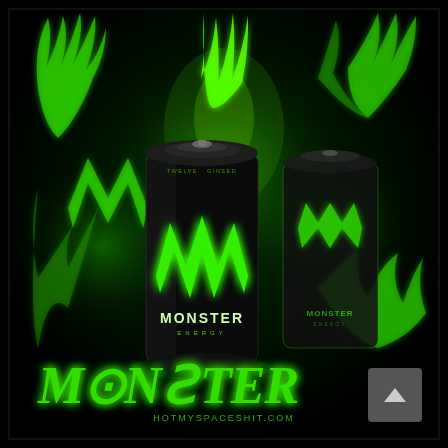[Figure (photo): Monster Energy drink advertisement showing two black cans with the green Monster 'M' claw logo, surrounded by glowing green monster claw/hand graphics on a dark black background. Below the cans is the Monster Energy logo text in glowing green stylized font reading 'MONSTER', with the URL 'HOTMYSPACESHIT.COM' beneath it. A grey scroll-up button is visible in the bottom right corner.]